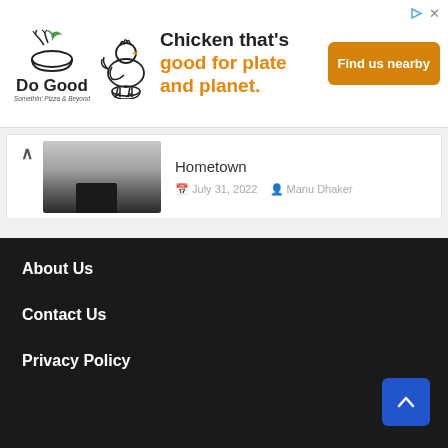[Figure (infographic): Do Good chicken brand advertisement banner. Logo with chicken bowl icon and text 'Do Good'. Ad text: 'Chicken that's good for plate and planet.' with orange highlighted words. Orange 'Find us nearby' button on right. Play and X icons top right.]
Hometown
July 31, 2022   Manu Dhaker
[Figure (photo): Thumbnail photo of a girl in a pink top standing outdoors with palm trees and green grass in the background.]
Ishita (Ishitaaa.10) Age, Biography, BF, Instagram Star, Hometown
July 30, 2022   Manu Dhaker
About Us
Contact Us
Privacy Policy